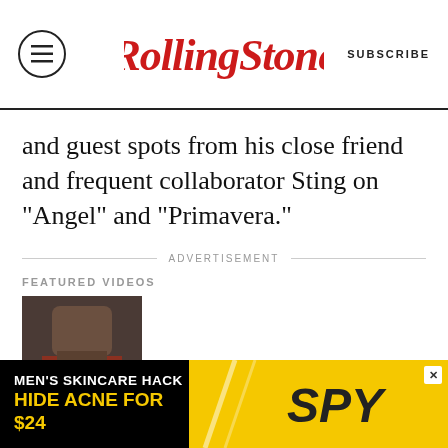Rolling Stone — SUBSCRIBE
and guest spots from his close friend and frequent collaborator Sting on “Angel” and “Primavera.”
ADVERTISEMENT
FEATURED VIDEOS
[Figure (photo): Video thumbnail showing a person, with a play button overlay]
[Figure (photo): Advertisement banner: MEN'S SKINCARE HACK HIDE ACNE FOR $24 — SPY brand ad on black and yellow background]